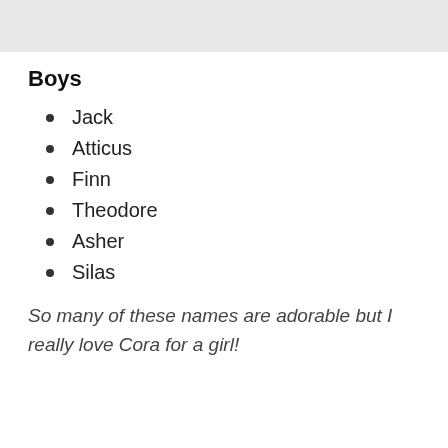Boys
Jack
Atticus
Finn
Theodore
Asher
Silas
So many of these names are adorable but I really love Cora for a girl!